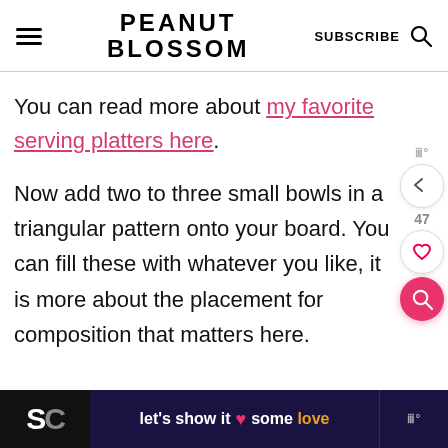PEANUT BLOSSOM
You can read more about my favorite serving platters here.
Now add two to three small bowls in a triangular pattern onto your board. You can fill these with whatever you like, it is more about the placement for composition that matters here.
let's show it some love